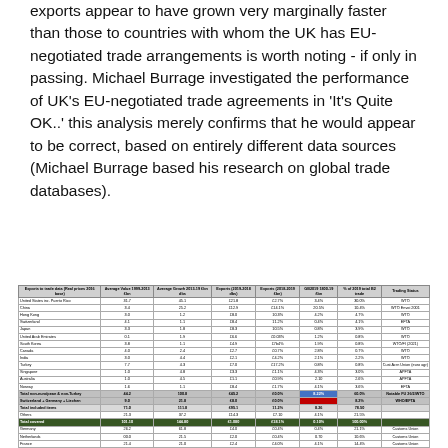exports appear to have grown very marginally faster than those to countries with whom the UK has EU-negotiated trade arrangements is worth noting - if only in passing. Michael Burrage investigated the performance of UK's EU-negotiated trade agreements in 'It's Quite OK..' this analysis merely confirms that he would appear to be correct, based on entirely different data sources (Michael Burrage based his research on global trade databases).
| Exports to trade data (Real prices 2016 base) | Average Yvalue 1999-2013 £bn | Average Growh 2013-19 £bn dbs | Exports (2019-2018 dbs) | Exports (2018-2019 £bn) | GB2019 1800-19 £bn | % of 2019 total B2 | trade | Trading status |
| --- | --- | --- | --- | --- | --- | --- | --- | --- |
| United States inc. Puerto Rico | 31.7 | 45.1 | £21.8 | £2.7% | 3.4% | 30.0% |  | WTO |
| China | 3.4 | 25.2 | £12.9 | £14.1% | 20.5% | 10.4% |  | WTO Envoi 2001 |
| Hong Kong | 3.0 | 1.2 | £8.0 | 10.3% | 4.2% | 4.7% |  | WTO |
| Switzerland | 4.1 | 1.1 | £8.4 | 11.2% | 0.4% | 4.1% |  | EFTA |
| Japan | 3.3 | 1.8 | £8.3 | 10.5% | 0.8% | 3.9% |  | WTO |
| United Arab Emirates | 0.1 | 1.9 | £6.6 | £0.03% | 1.2% | 0.8% |  | WTO |
| South Korea | 3.8 | 1.1 | £4.9 | £7b4% | 1.9% | 0.8% |  | WTO/FI (2021) |
| Canada | 4.0 | 2.4 | £2.7 | £0.7% | 2.8% | 0.7% |  | WTO |
| India | 3.0 | 4.4 | £2.1 | £4.2% | 2.1% | 2.2% |  | WTO |
| Turkey | 7.7 | 4.3 | £7.0 | £17.2% | 0.8% | 0.8% |  | Cust Acrn Union (euro agr) |
| Singapore | 1.0 | 4.8 | £3.3 | £1.1% | 4.3% | 3.0% |  | APFTA |
| Australia | 1.0 | 4.5 | £1.1 | £0.9% | 2.10 | 2.6% |  | APFTA |
| Norway | 1.6 | 1.1 | £8.4 | £1.7% | 4.1% | 3.6% |  | EFTA |
| Total non-euro/pean & non-Turkey | 44.2 | 100.8 | £45.2 | £0.0% | 8.22% | 60.0% |  | Notable FU 2¢/2/WTO |
| Switzerland + Germany + Liechen | 9.0 | 21.8 | £8.0 | £0.0% |  | 8.2% |  | WHO/EFTA |
| Total included items | 71.0 | 111.8 | £95.1 | 11.2% | 8.26 | 78.50 |  |  |
| Others | 21.3 | 37.2 | £14.3 | £7.10 | 4.1% | 21.5% |  |  |
| Total covered | 101.10 | 144.80 | £1.080 | £18.1% | 0.10% | 100.00% |  |  |
| Germany | 26.2 | 61.8 | £4.0 | £0.4% | 0.4% | 21.1% |  | Customs Union |
| Netherlands | 00.0 | 21.5 | £2.0 | £0.4% | 0.70 | 10.6% |  | Customs Union |
| France | 21.4 | 21.0 | £2.4 | £4.0% | 4.1% | 14.4% |  | Customs Union |